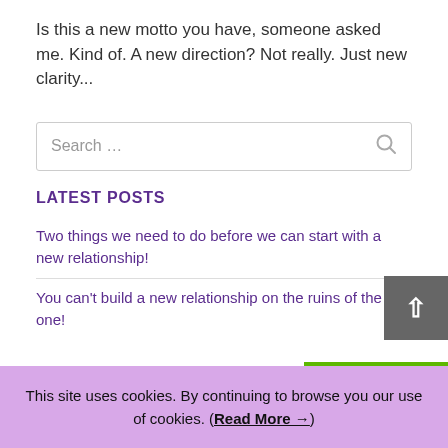Is this a new motto you have, someone asked me. Kind of. A new direction? Not really. Just new clarity...
Search ...
LATEST POSTS
Two things we need to do before we can start with a new relationship!
You can't build a new relationship on the ruins of the old one!
This site uses cookies. By continuing to browse you our use of cookies. (Read More →)